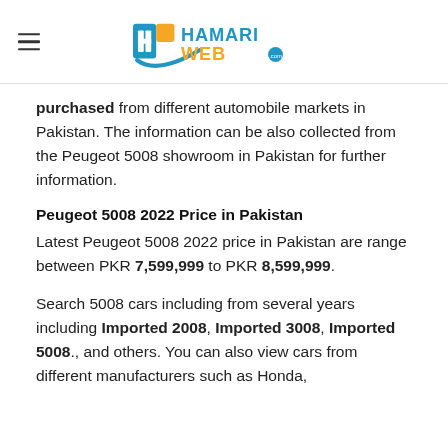HamariWeb
purchased from different automobile markets in Pakistan. The information can be also collected from the Peugeot 5008 showroom in Pakistan for further information.
Peugeot 5008 2022 Price in Pakistan
Latest Peugeot 5008 2022 price in Pakistan are range between PKR 7,599,999 to PKR 8,599,999.
Search 5008 cars including from several years including Imported 2008, Imported 3008, Imported 5008., and others. You can also view cars from different manufacturers such as Honda,